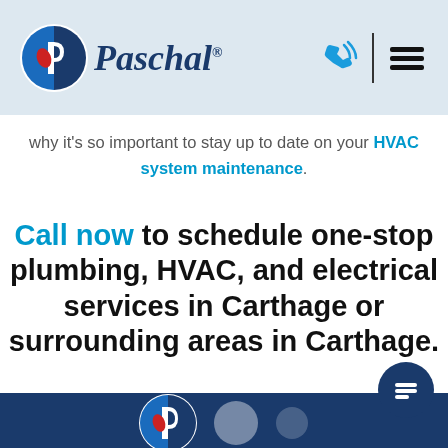Paschal
why it's so important to stay up to date on your HVAC system maintenance.
Call now to schedule one-stop plumbing, HVAC, and electrical services in Carthage or surrounding areas in Carthage.